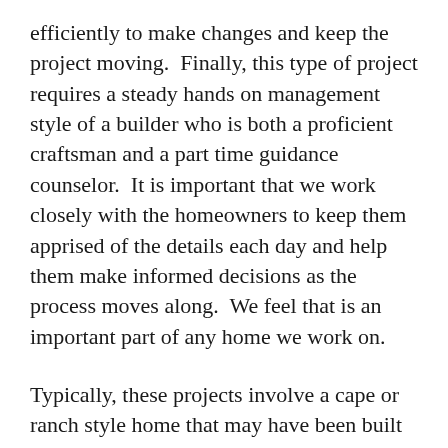efficiently to make changes and keep the project moving.  Finally, this type of project requires a steady hands on management style of a builder who is both a proficient craftsman and a part time guidance counselor.  It is important that we work closely with the homeowners to keep them apprised of the details each day and help them make informed decisions as the process moves along.  We feel that is an important part of any home we work on.
Typically, these projects involve a cape or ranch style home that may have been built in the 40s, 50s or 60s and the family needs more space and want to go up.  It makes sense that adding a second floor will potentially double your space.  This can allow for a new master suite built to modern standards, added bedrooms, another bathroom, a study and likewise.